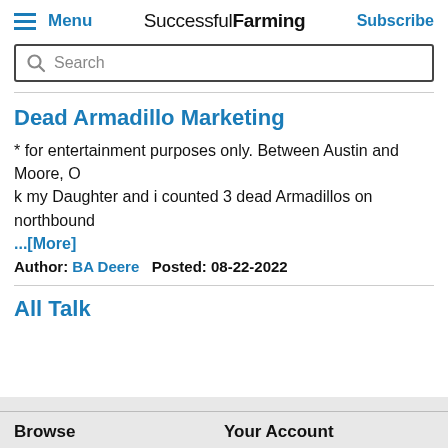Menu  Successful Farming  Subscribe
Search
Dead Armadillo Marketing
* for entertainment purposes only. Between Austin and Moore, Ok my Daughter and i counted 3 dead Armadillos on northbound
...[More]
Author: BA Deere   Posted: 08-22-2022
All Talk
Browse   Your Account